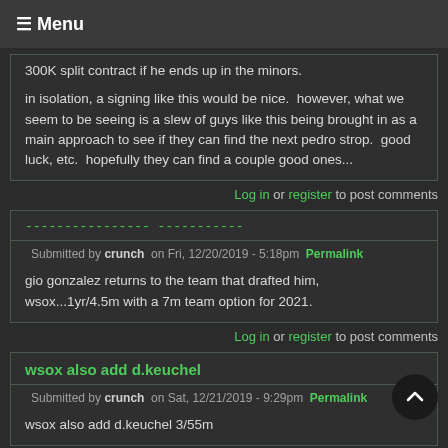≡ Menu
300K split contract if he ends up in the minors.

in isolation, a signing like this would be nice.  however, what we seem to be seeing is a slew of guys like this being brought in as a main approach to see if they can find the next pedro strop.  good luck, etc.  hopefully they can find a couple good ones...
Log in or register to post comments
---------------- -----------
Submitted by crunch on Fri, 12/20/2019 - 5:18pm Permalink
gio gonzalez returns to the team that drafted him, wsox...1yr/4.5m with a 7m team option for 2021.
Log in or register to post comments
wsox also add d.keuchel
Submitted by crunch on Sat, 12/21/2019 - 9:29pm Permalink
wsox also add d.keuchel 3/55m